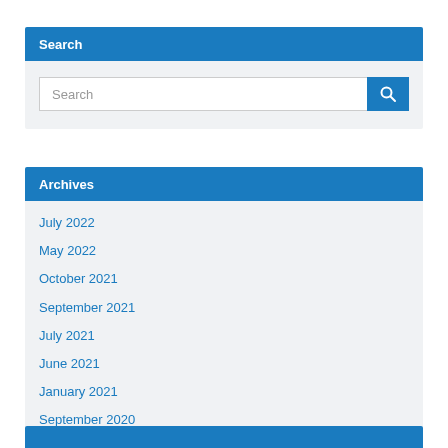Search
[Figure (screenshot): Search input box with blue search button containing a magnifying glass icon]
Archives
July 2022
May 2022
October 2021
September 2021
July 2021
June 2021
January 2021
September 2020